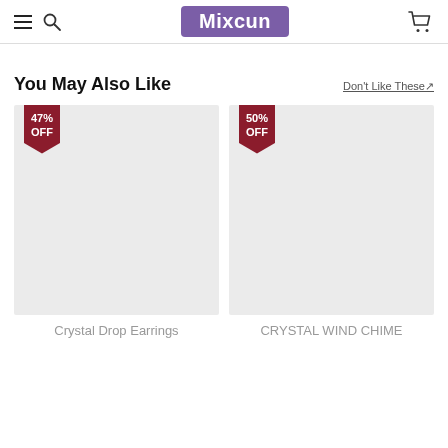Mixcun
You May Also Like
Don't Like These↗
[Figure (photo): Product image placeholder with 47% OFF badge — Crystal Drop Earrings]
[Figure (photo): Product image placeholder with 50% OFF badge — CRYSTAL WIND CHIME]
Crystal Drop Earrings
CRYSTAL WIND CHIME